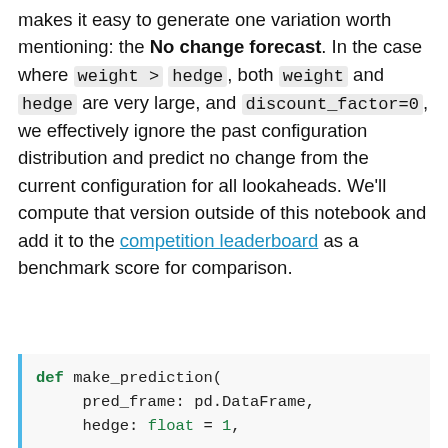makes it easy to generate one variation worth mentioning: the No change forecast. In the case where weight > hedge, both weight and hedge are very large, and discount_factor=0, we effectively ignore the past configuration distribution and predict no change from the current configuration for all lookaheads. We'll compute that version outside of this notebook and add it to the competition leaderboard as a benchmark score for comparison.
def make_prediction(
    pred_frame: pd.DataFrame,
    hedge: float = 1,